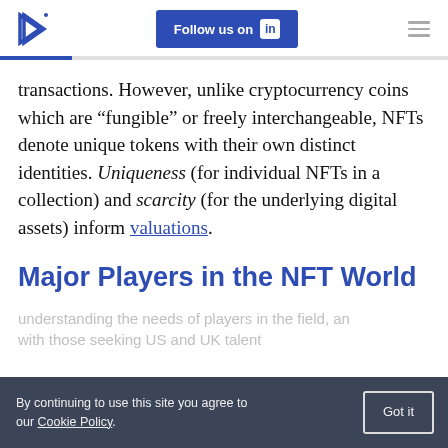Follow us on LinkedIn
transactions. However, unlike cryptocurrency coins which are “fungible” or freely interchangeable, NFTs denote unique tokens with their own distinct identities. Uniqueness (for individual NFTs in a collection) and scarcity (for the underlying digital assets) inform valuations.
Major Players in the NFT World
understanding the needs of players in the field, and with those seeking US and UK talent
By continuing to use this site you agree to our Cookie Policy.